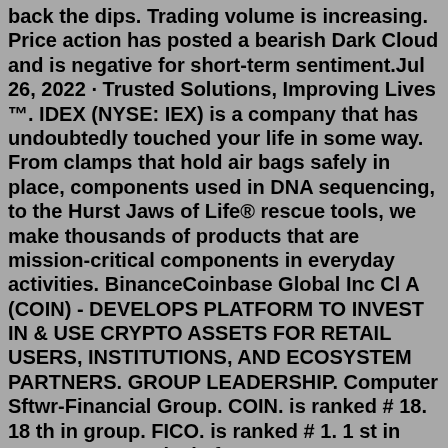back the dips. Trading volume is increasing. Price action has posted a bearish Dark Cloud and is negative for short-term sentiment.Jul 26, 2022 · Trusted Solutions, Improving Lives ™. IDEX (NYSE: IEX) is a company that has undoubtedly touched your life in some way. From clamps that hold air bags safely in place, components used in DNA sequencing, to the Hurst Jaws of Life® rescue tools, we make thousands of products that are mission-critical components in everyday activities. BinanceCoinbase Global Inc Cl A (COIN) - DEVELOPS PLATFORM TO INVEST IN & USE CRYPTO ASSETS FOR RETAIL USERS, INSTITUTIONS, AND ECOSYSTEM PARTNERS. GROUP LEADERSHIP. Computer Sftwr-Financial Group. COIN. is ranked # 18. 18 th in group. FICO. is ranked # 1. 1 st in group. More analysis for FICO: IBD RATINGS FOR COINJul 14, 2017 · IDEX v3 is the world's first Hybrid Liquidity DEX, combining a high-performance order book with AMM. Discord: https://t.co/FzhJF4mXfE Telegram: